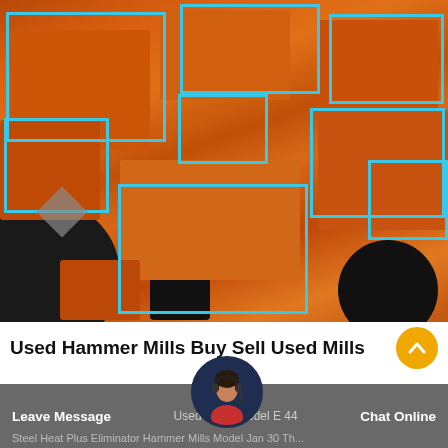[Figure (photo): Photograph of multiple orange industrial hammer mills with blue rectangular bounding-box overlays highlighting various parts of the machines, shown outdoors in a yard.]
Used Hammer Mills Buy Sell Used Mills
[Figure (photo): Circular avatar photo of a customer service representative wearing a headset, shown in a dark blue circular frame.]
Leave Message   Used Hammer Mills Model E 44...   Chat Online
Steel Heat Plus Eliminator Hammer Mills Model Jan 30 Th...